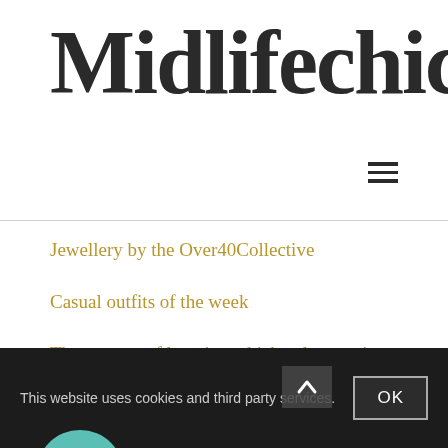Midlifechic
Jewellery by the Over40Collective
Casual outfits of the week
The process of learning which colours suit you
Doing Black Tie differently
Accessories to update your outfits – bags and jewellery
Using accessories to update your outfits – shoes and boots
This website uses cookies and third party services.